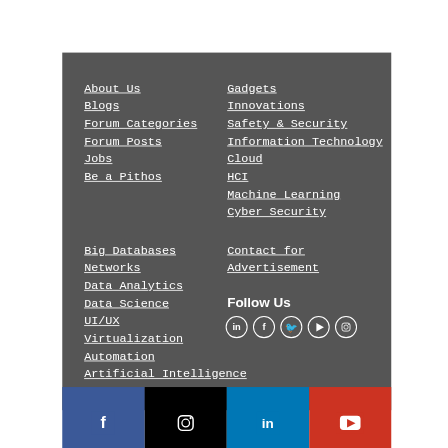About Us
Blogs
Forum Categories
Forum Posts
Jobs
Be a Pithos
Gadgets
Innovations
Safety & Security
Information Technology
Cloud
HCI
Machine Learning
Cyber Security
Big Databases
Networks
Data Analytics
Data Science
UI/UX
Virtualization
Automation
Artificial Intelligence
Contact for Advertisement
Follow Us
[Figure (infographic): Social media icons: LinkedIn, Facebook, Twitter, YouTube, Instagram circles]
[Figure (infographic): Bottom social media bars: Facebook (blue), Instagram (black), LinkedIn (blue), YouTube (red)]